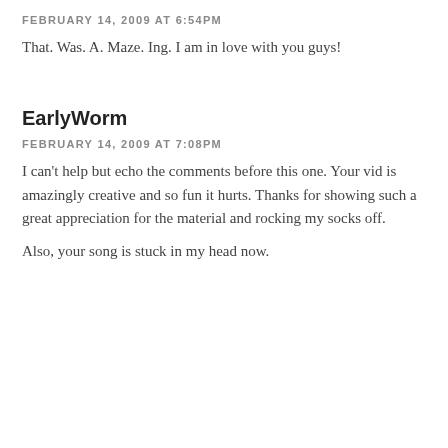FEBRUARY 14, 2009 AT 6:54PM
That. Was. A. Maze. Ing. I am in love with you guys!
EarlyWorm
FEBRUARY 14, 2009 AT 7:08PM
I can't help but echo the comments before this one. Your vid is amazingly creative and so fun it hurts. Thanks for showing such a great appreciation for the material and rocking my socks off.
Also, your song is stuck in my head now.